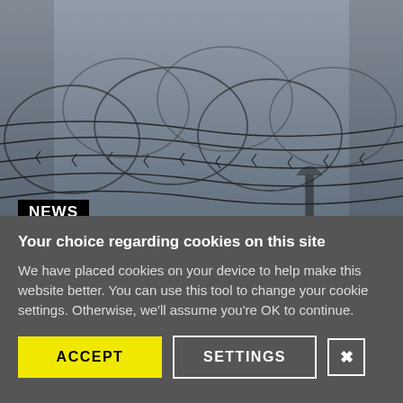[Figure (photo): Photograph of tangled barbed wire / razor wire against a grey sky, with a black NEWS badge overlaid at bottom left]
NEWS
Your choice regarding cookies on this site
We have placed cookies on your device to help make this website better. You can use this tool to change your cookie settings. Otherwise, we'll assume you're OK to continue.